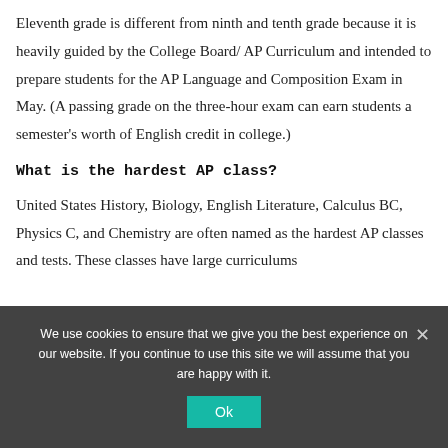Eleventh grade is different from ninth and tenth grade because it is heavily guided by the College Board/ AP Curriculum and intended to prepare students for the AP Language and Composition Exam in May. (A passing grade on the three-hour exam can earn students a semester's worth of English credit in college.)
What is the hardest AP class?
United States History, Biology, English Literature, Calculus BC, Physics C, and Chemistry are often named as the hardest AP classes and tests. These classes have large curriculums...
We use cookies to ensure that we give you the best experience on our website. If you continue to use this site we will assume that you are happy with it.